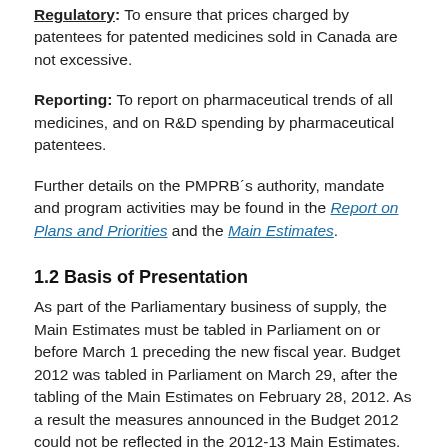Regulatory: To ensure that prices charged by patentees for patented medicines sold in Canada are not excessive.
Reporting: To report on pharmaceutical trends of all medicines, and on R&D spending by pharmaceutical patentees.
Further details on the PMPRB´s authority, mandate and program activities may be found in the Report on Plans and Priorities and the Main Estimates.
1.2 Basis of Presentation
As part of the Parliamentary business of supply, the Main Estimates must be tabled in Parliament on or before March 1 preceding the new fiscal year. Budget 2012 was tabled in Parliament on March 29, after the tabling of the Main Estimates on February 28, 2012. As a result the measures announced in the Budget 2012 could not be reflected in the 2012-13 Main Estimates.
In fiscal year 2012-2013, frozen allotments will be established by Treasury Board authority in departmental